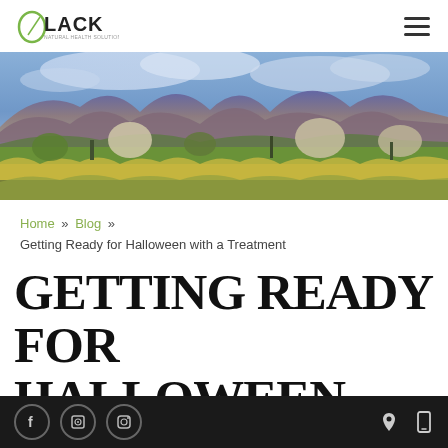OLACK | Navigation menu
[Figure (photo): Panoramic desert landscape with mountains, blue sky, yellow wildflowers, green shrubs and cacti in Arizona]
Home » Blog » Getting Ready for Halloween with a Treatment
GETTING READY FOR HALLOWEEN WITH A
Social media icons: Facebook, Google, Instagram | Location and mobile icons